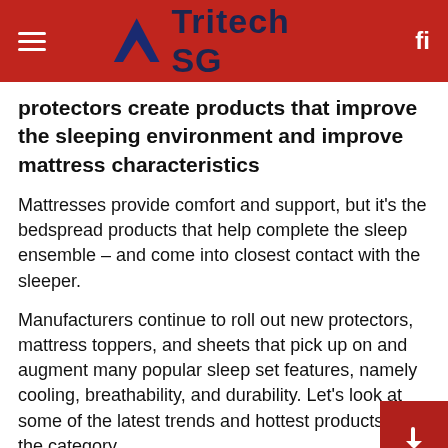Tritech SG
protectors create products that improve the sleeping environment and improve mattress characteristics
Mattresses provide comfort and support, but it’s the bedspread products that help complete the sleep ensemble – and come into closest contact with the sleeper.
Manufacturers continue to roll out new protectors, mattress toppers, and sheets that pick up on and augment many popular sleep set features, namely cooling, breathability, and durability. Let’s look at some of the latest trends and hottest products in the category.